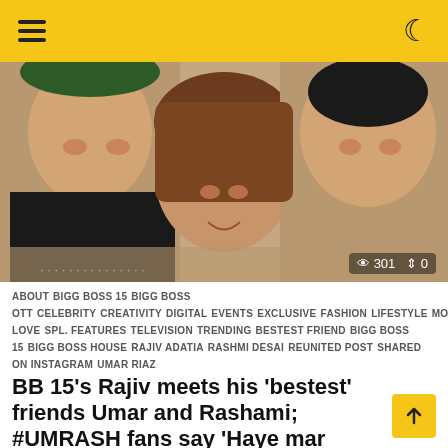Navigation header with hamburger menu and dark mode icon
[Figure (photo): Three people taking a selfie — two men and a woman in the center with brown hair, smiling. Stats overlay: 301 views, 0 shares.]
ABOUT  BIGG BOSS 15  BIGG BOSS OTT  CELEBRITY  CREATIVITY  DIGITAL  EVENTS  EXCLUSIVE  FASHION  LIFESTYLE  MOVIES  MUSIC  REVIEWS  SELF LOVE  SPL. FEATURES  TELEVISION  TRENDING  BESTEST FRIEND  BIGG BOSS 15  BIGG BOSS HOUSE  RAJIV ADATIA  RASHMI DESAI  REUNITED POST  SHARED ON INSTAGRAM  UMAR RIAZ
BB 15's Rajiv meets his 'bestest' friends Umar and Rashami; #UMRASH fans say 'Haye mar jawa' !